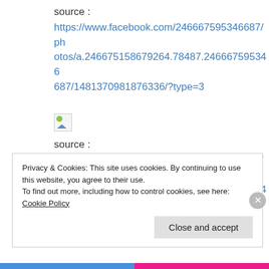source :
https://www.facebook.com/246667595346687/photos/a.246675158679264.78487.246667595346687/1481370981876336/?type=3
[Figure (photo): Broken image placeholder icon]
source :
https://www.facebook.com/246667595346687/photos/a.246675158679264.78487.246667595346687/1482089565137811/?type=3
Privacy & Cookies: This site uses cookies. By continuing to use this website, you agree to their use.
To find out more, including how to control cookies, see here: Cookie Policy